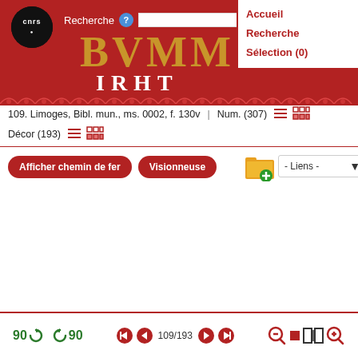[Figure (screenshot): BVMM (Bibliothèque virtuelle des manuscrits médiévaux) website header with CNRS logo, red background, BVMM title in gold, IRHT subtitle in white, navigation menu with Accueil, Recherche, Sélection (0), and a search bar labeled Recherche]
109. Limoges, Bibl. mun., ms. 0002, f. 130v | Num. (307)
Décor (193)
Afficher chemin de fer
Visionneuse
- Liens -
90 90 109/193